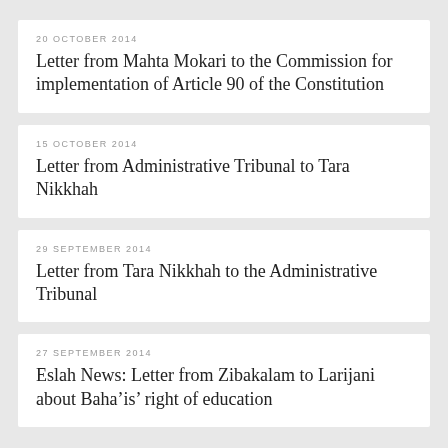20 OCTOBER 2014
Letter from Mahta Mokari to the Commission for implementation of Article 90 of the Constitution
15 OCTOBER 2014
Letter from Administrative Tribunal to Tara Nikkhah
29 SEPTEMBER 2014
Letter from Tara Nikkhah to the Administrative Tribunal
27 SEPTEMBER 2014
Eslah News: Letter from Zibakalam to Larijani about Baha’is’ right of education